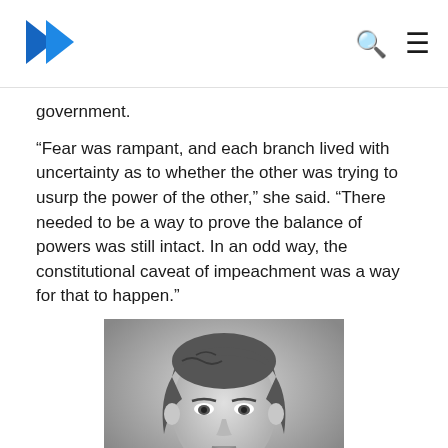[Logo] [Search icon] [Menu icon]
government.
“Fear was rampant, and each branch lived with uncertainty as to whether the other was trying to usurp the power of the other,” she said. “There needed to be a way to prove the balance of powers was still intact. In an odd way, the constitutional caveat of impeachment was a way for that to happen.”
[Figure (photo): Black and white portrait photograph of a man with mid-length dark hair wearing a dark jacket, appearing to be from the 19th century.]